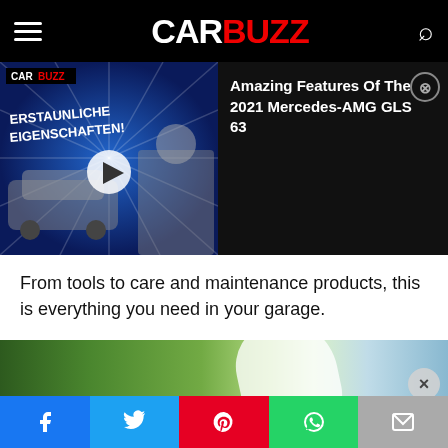CARBUZZ
[Figure (screenshot): CarBuzz video thumbnail showing a Mercedes-AMG GLS 63 SUV with German text 'Erstaunliche Eigenschaften!' and a surprised man, with a play button overlay]
Amazing Features Of The 2021 Mercedes-AMG GLS 63
From tools to care and maintenance products, this is everything you need in your garage.
[Figure (photo): Close-up of a white curved surface (possibly a car panel or roof) against a green field and blue sky background]
[Figure (screenshot): Topgolf advertisement banner showing Dine-in and Delivery options with navigation arrow]
[Figure (infographic): Social share bar with Facebook, Twitter, Pinterest, WhatsApp, and Email buttons]